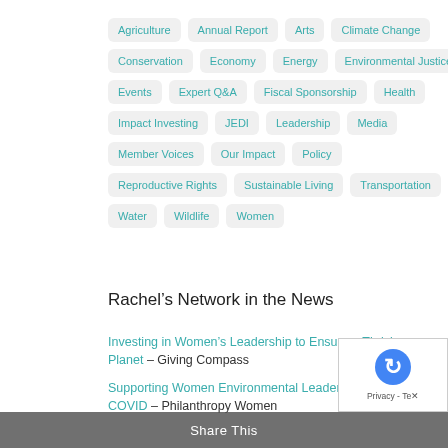Agriculture
Annual Report
Arts
Climate Change
Conservation
Economy
Energy
Environmental Justice
Events
Expert Q&A
Fiscal Sponsorship
Health
Impact Investing
JEDI
Leadership
Media
Member Voices
Our Impact
Policy
Reproductive Rights
Sustainable Living
Transportation
Water
Wildlife
Women
Rachel’s Network in the News
Investing in Women’s Leadership to Ensure a Thriving Planet – Giving Compass
Supporting Women Environmental Leaders During COVID – Philanthropy Women
Share This